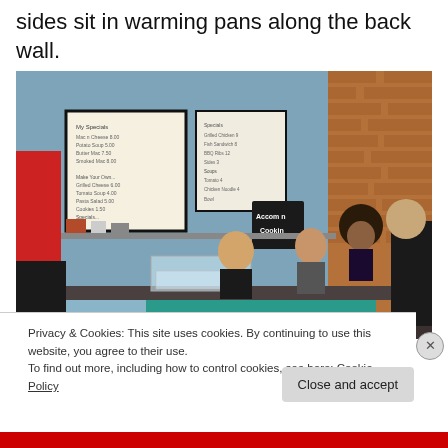sides sit in warming pans along the back wall.
[Figure (photo): Interior of a casual restaurant or deli counter. Menu boards hang on a blue wall. Three staff members stand behind a teal-colored counter with pastry display cases. A customer on the right side speaks with them. Brick wall visible on the right side. Text on counter reads 'From The Sis...']
Privacy & Cookies: This site uses cookies. By continuing to use this website, you agree to their use.
To find out more, including how to control cookies, see here: Cookie Policy
Close and accept